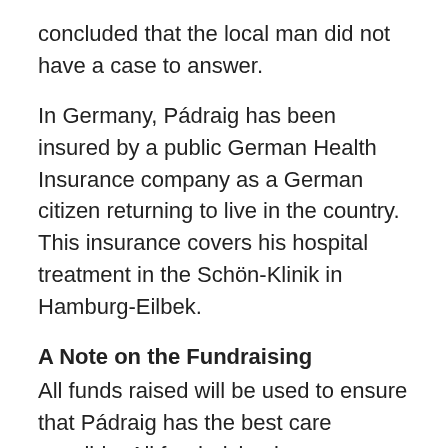concluded that the local man did not have a case to answer.
In Germany, Pádraig has been insured by a public German Health Insurance company as a German citizen returning to live in the country. This insurance covers his hospital treatment in the Schön-Klinik in Hamburg-Eilbek.
A Note on the Fundraising
All funds raised will be used to ensure that Pádraig has the best care possible. All fundraising is co-ordinated by people outside of the family. Pádraig's family itself is not involved in the organization of any fundraising events. All donations are administered by a Committee with a chairperson and secretary who are the only people authorized to disburse the funds. No member of Pádraig's family is involved in the allocation of the donations made.